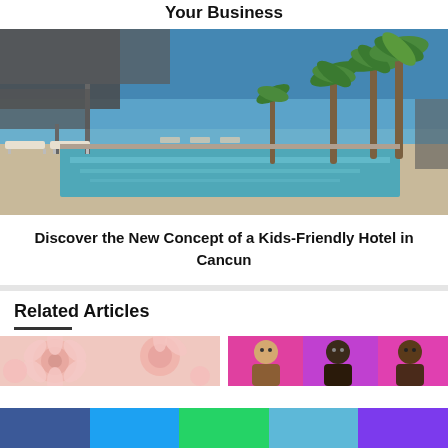Your Business
[Figure (photo): Luxury hotel pool area in Cancun with lounge chairs under umbrellas, palm trees, and a clear blue sky reflected in the pool water.]
Discover the New Concept of a Kids-Friendly Hotel in Cancun
Related Articles
[Figure (photo): Close-up of light pink flowers (peonies or roses) blooming.]
[Figure (photo): Group of three men against a colorful pink/purple background.]
[Figure (infographic): Social sharing buttons bar with colors: blue (Facebook), light blue (Twitter), green (WhatsApp), medium blue (LinkedIn), purple (Pinterest).]